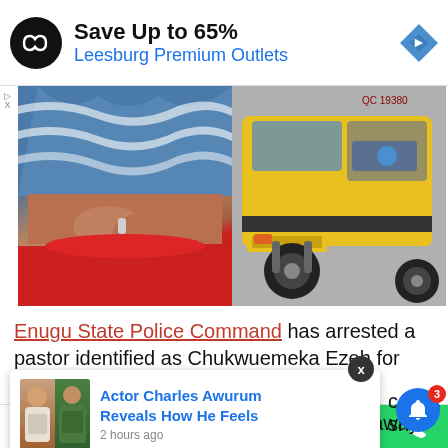[Figure (screenshot): Advertisement banner: black circular logo with infinity arrows, 'Save Up to 65%' in bold black, 'Leesburg Premium Outlets' in blue, blue diamond arrow icon top right]
[Figure (photo): Split photo: left side shows a person sitting with crossed arms wearing blue patterned shirt and red skirt; right side shows a yellow three-wheeled tuk-tuk vehicle with license plate QC 19...]
Enugu State Police Command has arrested a pastor identified as Chukwuemeka Ezeh for killing his [wife] ...cause she ...king away
[Figure (screenshot): Pop-up notification card: thumbnail of Actor Charles Awurum and another person, text 'Actor Charles Awurum Reveals How He Feels', '2 hours ago']
Shares | Facebook | Twitter | WhatsApp | Messenger